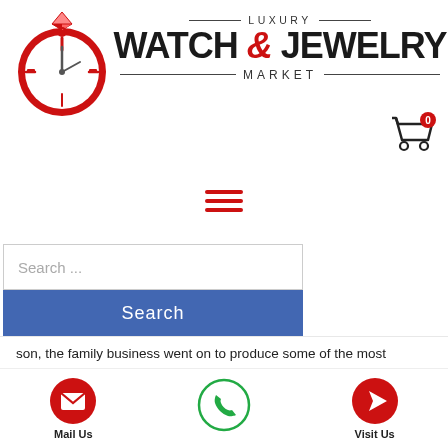[Figure (logo): Luxury Watch & Jewelry Market logo with red circular clock/watch icon with diamond on top, and stylized text reading LUXURY WATCH & JEWELRY MARKET]
[Figure (other): Shopping cart icon with red badge showing 0]
[Figure (other): Hamburger menu icon - three red horizontal lines]
Search ...
Search
son, the family business went on to produce some of the most luxurious pocket watches in the world, often coveted by royalty.
[Figure (other): Mail Us icon - red circle with white envelope]
[Figure (other): Phone icon - green circle outline with green phone handset]
[Figure (other): Visit Us icon - red circle with white location pin/navigation arrow]